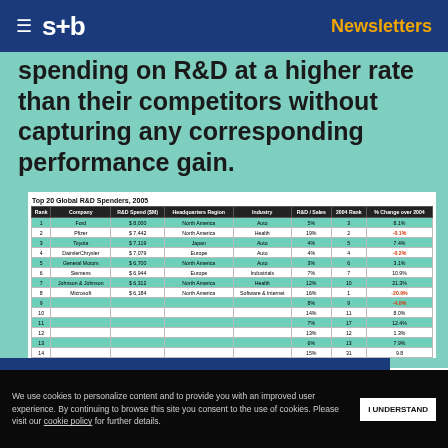s+b | Newsletters
spending on R&D at a higher rate than their competitors without capturing any corresponding performance gain.
| Rank | Company | R&D Spend ($M) | Headquarters Region | Industry | R&D / Sales | 2004 Rank | % Change over 2004 |
| --- | --- | --- | --- | --- | --- | --- | --- |
| 1 | Ford | $ 8,000 | North America | Auto | 5% | 3 | 8.1% |
| 2 | Pfizer | $ 7,442 | North America | Health | 19% | 2 | -0.1% |
| 3 | Toyota | $ 7,119 | Japan | Auto | 4% | 5 | 7.4% |
| 4 | DaimlerChrysler | $ 7,079 | Europe | Auto | 4% | 4 | -0.2% |
| 5 | General Motors | $ 6,700 | North America | Auto | 3% | 6 | 3.1% |
| 6 | Siemens | $ 6,944 | Europe | Industrials | 7% | 7 | 10.9% |
| 7 | Johnson & Johnson | $ 6,312 | North America | Health | 12% | 10 | 21.3% |
| 8 | Microsoft | $ 6,184 | North America | Software & Internet | 16% | 1 | -20.9% |
| 9 |  |  |  |  | 8% | 9 | -4.0% |
| 10 |  |  |  |  | 14% | 11 | 8.0% |
| 11 |  |  |  |  | 7% | 17 | 12.4% |
| 12 |  |  |  |  | 13% | 12 | 1.3% |
| 13 |  |  |  |  | 6% | 13 | 7.9% |
| 14 |  |  |  |  | 15% | 31 | 9.8 |
Get s+b's award-winning newsletter delivered to your inbox.
We use cookies to personalize content and to provide you with an improved user experience. By continuing to browse this site you consent to the use of cookies. Please visit our cookie policy for further details.